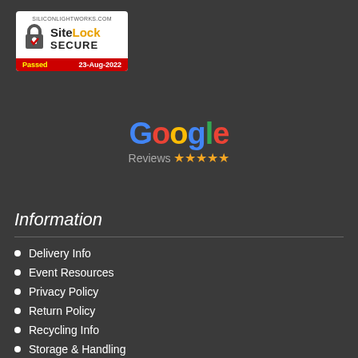[Figure (logo): SiteLock Secure badge - white box with padlock icon, 'SiteLock SECURE' text, and red footer showing 'Passed 23-Aug-2022' on siliconlightworks.com]
[Figure (logo): Google Reviews logo with colored Google text and 5 gold stars below]
Information
Delivery Info
Event Resources
Privacy Policy
Return Policy
Recycling Info
Storage & Handling
Terms & Conditions
Warranty Policy